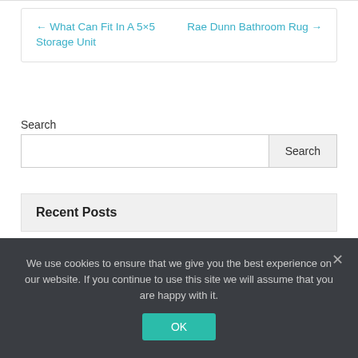← What Can Fit In A 5×5 Storage Unit    Rae Dunn Bathroom Rug →
Search
Recent Posts
Fort Knox Storage Tallahassee
We use cookies to ensure that we give you the best experience on our website. If you continue to use this site we will assume that you are happy with it.